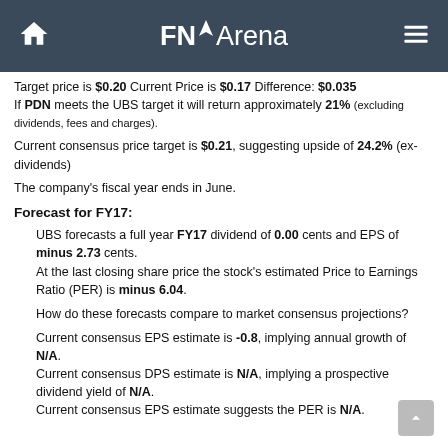FNArena
Target price is $0.20 Current Price is $0.17 Difference: $0.035 If PDN meets the UBS target it will return approximately 21% (excluding dividends, fees and charges).
Current consensus price target is $0.21, suggesting upside of 24.2% (ex-dividends)
The company's fiscal year ends in June.
Forecast for FY17:
UBS forecasts a full year FY17 dividend of 0.00 cents and EPS of minus 2.73 cents. At the last closing share price the stock's estimated Price to Earnings Ratio (PER) is minus 6.04.
How do these forecasts compare to market consensus projections?
Current consensus EPS estimate is -0.8, implying annual growth of N/A. Current consensus DPS estimate is N/A, implying a prospective dividend yield of N/A. Current consensus EPS estimate suggests the PER is N/A.